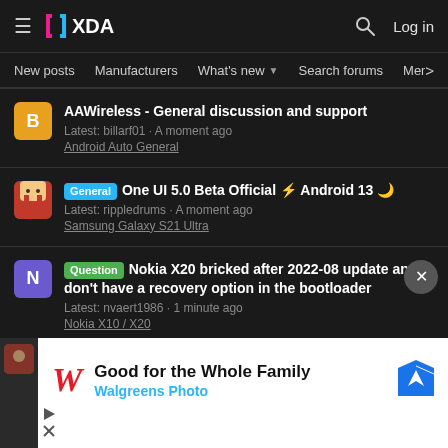XDA Developers - hamburger menu, XDA logo, search icon, Log in
New posts | Manufacturers | What's new | Search forums | Members >
AAWireless - General discussion and support
Latest: billarf01 · A moment ago
Android Auto General
[General] One UI 5.0 Beta Official ⚡ Android 13 🌙
Latest: rippledrums · A moment ago
Samsung Galaxy S21 Ultra
[Question] Nokia X20 bricked after 2022-08 update and don't have a recovery option in the bootloader
Latest: nvaert1986 · 1 minute ago
Nokia X10 / X20
[Figure (screenshot): Walgreens Photo advertisement: Good for the Whole Family - Walgreens Photo, with Walgreens W logo and map directions icon]